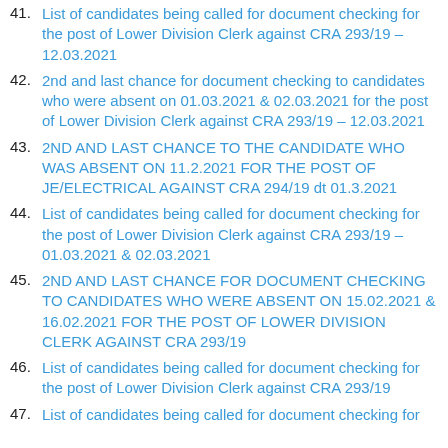41. List of candidates being called for document checking for the post of Lower Division Clerk against CRA 293/19 – 12.03.2021
42. 2nd and last chance for document checking to candidates who were absent on 01.03.2021 & 02.03.2021 for the post of Lower Division Clerk against CRA 293/19 – 12.03.2021
43. 2ND AND LAST CHANCE TO THE CANDIDATE WHO WAS ABSENT ON 11.2.2021 FOR THE POST OF JE/ELECTRICAL AGAINST CRA 294/19 dt 01.3.2021
44. List of candidates being called for document checking for the post of Lower Division Clerk against CRA 293/19 – 01.03.2021 & 02.03.2021
45. 2ND AND LAST CHANCE FOR DOCUMENT CHECKING TO CANDIDATES WHO WERE ABSENT ON 15.02.2021 & 16.02.2021 FOR THE POST OF LOWER DIVISION CLERK AGAINST CRA 293/19
46. List of candidates being called for document checking for the post of Lower Division Clerk against CRA 293/19
47. List of candidates being called for document checking for